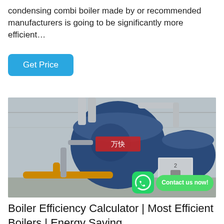condensing combi boiler made by or recommended manufacturers is going to be significantly more efficient…
Get Price
[Figure (photo): Industrial boilers in a factory — two large blue cylindrical boilers with pipes and a control cabinet, with a WhatsApp contact button overlay.]
Boiler Efficiency Calculator | Most Efficient Boilers | Energy Saving